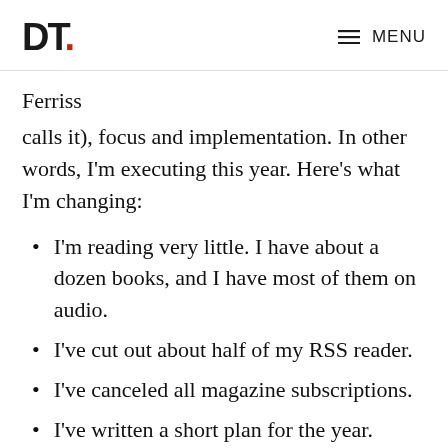DT. MENU
Ferriss
calls it), focus and implementation. In other words, I'm executing this year. Here's what I'm changing:
I'm reading very little. I have about a dozen books, and I have most of them on audio.
I've cut out about half of my RSS reader.
I've canceled all magazine subscriptions.
I've written a short plan for the year. Instead of my usual 40-50 page plan, my plan for